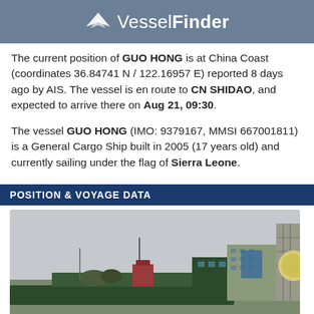VesselFinder
The current position of GUO HONG is at China Coast (coordinates 36.84741 N / 122.16957 E) reported 8 days ago by AIS. The vessel is en route to CN SHIDAO, and expected to arrive there on Aug 21, 09:30.
The vessel GUO HONG (IMO: 9379167, MMSI 667001811) is a General Cargo Ship built in 2005 (17 years old) and currently sailing under the flag of Sierra Leone.
POSITION & VOYAGE DATA
[Figure (photo): Photo of the cargo vessel GUO HONG docked at a port, showing the ship's hull, bridge structure, and port facilities including buildings and cranes in the background under an overcast sky.]